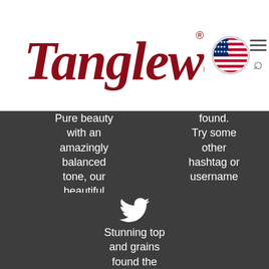[Figure (logo): Tanglewood brand logo with script text in dark red/crimson, a US flag circle badge, and navigation icons (hamburger menu and search) on the right]
Pure beauty with an amazingly balanced tone, our beautiful Tanglewood TSM-1 Masterdesign. This is one seriously gr... twitter.com/i/web/status/1... 5 hours ago
found. Try some other hashtag or username
[Figure (illustration): Twitter bird icon in white]
Stunning top and grains found the